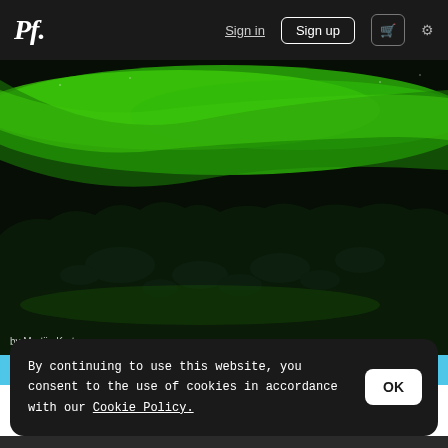Pf. | Sign in | Sign up | 🛒 | ⚙
[Figure (photo): Aurora borealis (northern lights) photograph showing vivid green light display over dark rocky landscape and water, by Martijn Kort]
by Martijn Kort
By continuing to use this website, you consent to the use of cookies in accordance with our Cookie Policy.